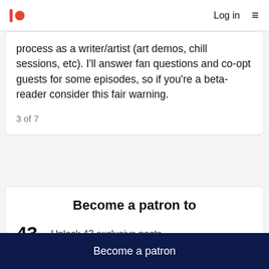Log in  ≡
process as a writer/artist (art demos, chill sessions, etc). I'll answer fan questions and co-opt guests for some episodes, so if you're a beta-reader consider this fair warning.
3 of 7
Become a patron to
43   Unlock 43 exclusive posts
Become a patron